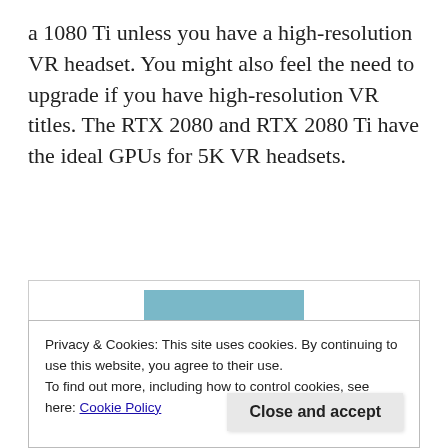a 1080 Ti unless you have a high-resolution VR headset. You might also feel the need to upgrade if you have high-resolution VR titles. The RTX 2080 and RTX 2080 Ti have the ideal GPUs for 5K VR headsets.
[Figure (photo): Portrait photo of a young woman with curly dark hair wearing a black turtleneck, against a teal/blue background.]
Privacy & Cookies: This site uses cookies. By continuing to use this website, you agree to their use.
To find out more, including how to control cookies, see here: Cookie Policy
started writing articles, guides and reviews for players. In her